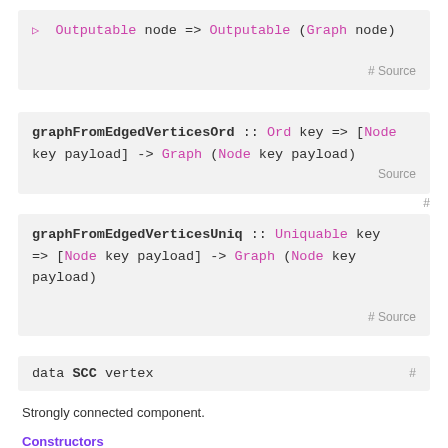▷ Outputable node => Outputable (Graph node)  # Source
graphFromEdgedVerticesOrd :: Ord key => [Node key payload] -> Graph (Node key payload)  Source #
graphFromEdgedVerticesUniq :: Uniquable key => [Node key payload] -> Graph (Node key payload)  # Source
data SCC vertex  #
Strongly connected component.
Constructors
AcyclicSCC vertex  A single vertex that is not in any ...